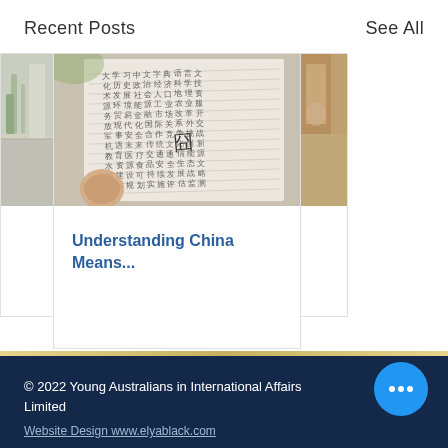Recent Posts    See All
[Figure (photo): Partial left card showing a plant/architectural image, cropped on right edge]
[Figure (photo): Center card with photo of a Chinese dictionary/book with handwritten characters, held open by a hand]
Understanding China Means...
[Figure (photo): Partial right card showing a warm-toned photo, cropped on left edge]
● ○ ○
© 2022 Young Australians in International Affairs Limited
Website Design www.elyablack.com